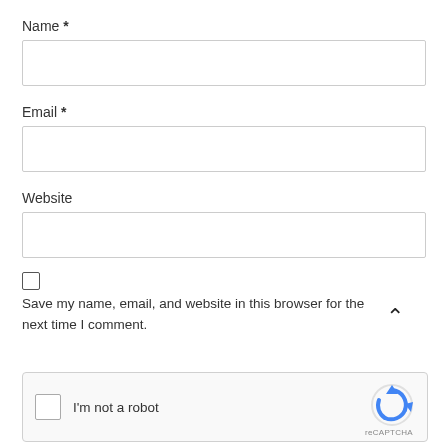Name *
Email *
Website
Save my name, email, and website in this browser for the next time I comment.
[Figure (screenshot): reCAPTCHA widget with checkbox labeled 'I'm not a robot' and reCAPTCHA logo]